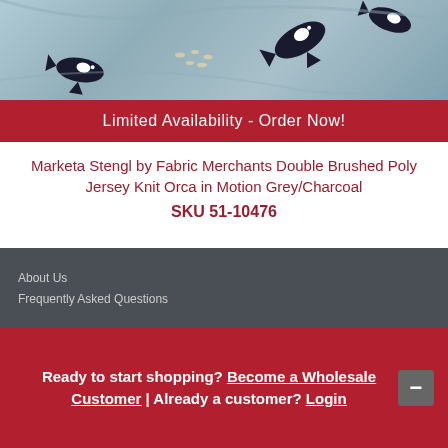[Figure (photo): Close-up photo of fabric with grey/blue background and orca whale pattern in black and white]
Limited Availability - Order Now!
Marketa Stengl by Fabric Merchants Double Brushed Poly Jersey Knit Orca in Motion Grey/Charcoal
SKU 51-10476
About Us
Frequently Asked Questions
Ready to start shopping? Become a Wholesale Customer | Already a customer? Login